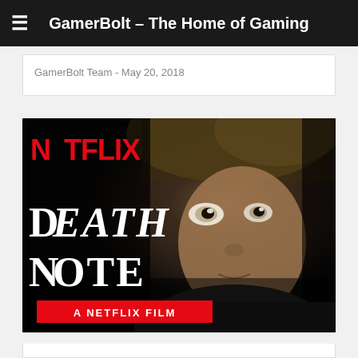GamerBolt – The Home of Gaming
GamerBolt Team · May 20, 2018
[Figure (photo): Netflix Death Note movie promotional image showing a close-up of a young blond male actor with haunting eyes against a dark background. The Netflix logo appears in red in the top left. 'Death Note' text in stylized white horror font is visible lower left, with 'A NETFLIX FILM' on a red banner at the bottom left.]